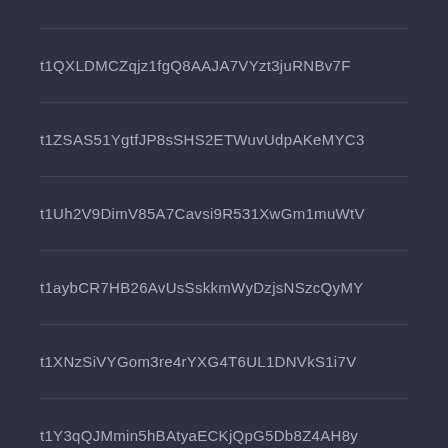t1QXLDMCZqjz1fgQ8AAJA7VYzt3juRNBv7F
t1ZSAS51YgtfJP8sSHS2ETWuvUdpAKeMYC3
t1Uh2V9DimV85A7Cavsi9R531XwGm1muWtV
t1aybCR7HB26AvUsSskkmWyDzjsNSzcQyMY
t1XNzSiVYGom3re4rYXG4T6UL1DNVkS1i7V
t1Y3qQJMmin5hBAtyaECKjQpG5Db8Z4AH8y